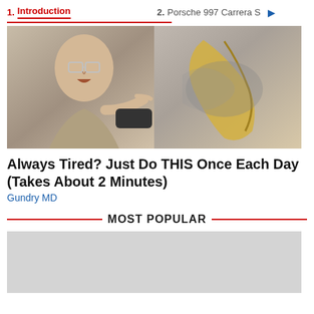1. Introduction   2. Porsche 997 Carrera S
[Figure (photo): A man in a suit pointing at something, next to an image of a banana peel or similar object, used as an advertisement thumbnail.]
Always Tired? Just Do THIS Once Each Day (Takes About 2 Minutes)
Gundry MD
MOST POPULAR
[Figure (photo): Gray placeholder image area at the bottom of the page.]